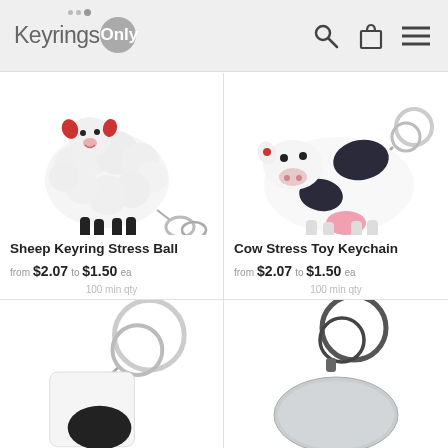KeyringsOnly
[Figure (photo): Sheep Keyring Stress Ball product photo — white fluffy sheep toy with red ears and a metal keyring]
[Figure (photo): Cow Stress Toy Keychain product photo — white and black cow toy with a metal keyring]
Sheep Keyring Stress Ball
from $2.07 to $1.50 ea
100 min qty
Cow Stress Toy Keychain
from $2.07 to $1.50 ea
100 min qty
[Figure (photo): Partial product photo of a keyring accessory — white with black element and metal ring, bottom cropped]
[Figure (photo): Partial product photo of a silver/grey keyring tag with metal ring, bottom cropped]